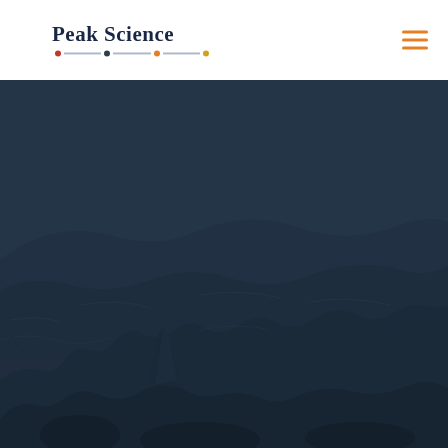[Figure (logo): Peak Science logo with text and colored dots on a line]
[Figure (photo): Dark moody landscape photo of rocky terrain with mountains and sparse vegetation under an overcast sky, heavily overlaid with a dark blue-grey tint]